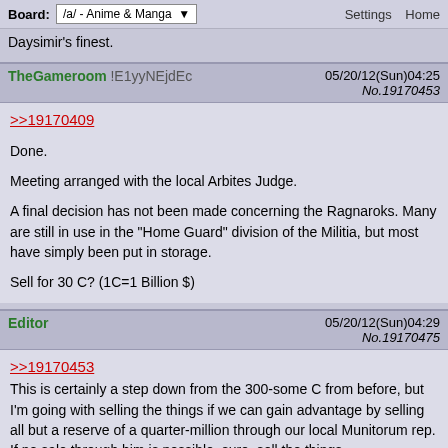Board: /a/ - Anime & Manga   Settings  Home
Daysimir's finest.
TheGameroom !E1yyNEjdEc   05/20/12(Sun)04:25 No.19170453
>>19170409

Done.

Meeting arranged with the local Arbites Judge.

A final decision has not been made concerning the Ragnaroks. Many are still in use in the "Home Guard" division of the Militia, but most have simply been put in storage.

Sell for 30 C? (1C=1 Billion $)
Editor   05/20/12(Sun)04:29 No.19170475
>>19170453
This is certainly a step down from the 300-some C from before, but I'm going with selling the things if we can gain advantage by selling all but a reserve of a quarter-million through our local Munitorum rep. If no sale through him is possible, sure, sell the things.